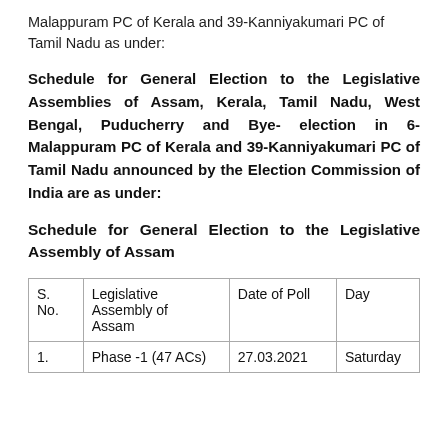Malappuram PC of Kerala and 39-Kanniyakumari PC of Tamil Nadu as under:
Schedule for General Election to the Legislative Assemblies of Assam, Kerala, Tamil Nadu, West Bengal, Puducherry and Bye- election in 6-Malappuram PC of Kerala and 39-Kanniyakumari PC of Tamil Nadu announced by the Election Commission of India are as under:
Schedule for General Election to the Legislative Assembly of Assam
| S. No. | Legislative Assembly of Assam | Date of Poll | Day |
| --- | --- | --- | --- |
| 1. | Phase -1 (47 ACs) | 27.03.2021 | Saturday |